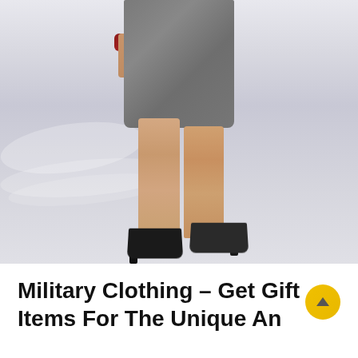[Figure (photo): Partial view of a woman wearing a gray pencil skirt, a red/burgundy bangle bracelet, and black high-heel pumps, standing against a light gray/white blurred background.]
Military Clothing – Get Gift Items For The Unique An